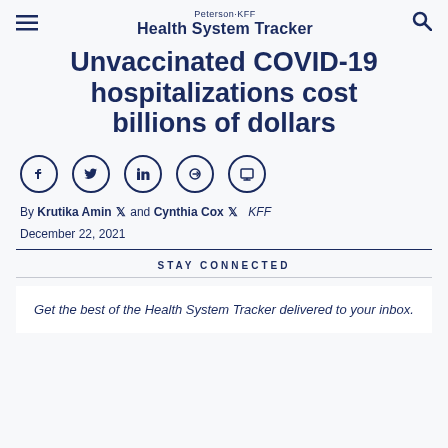Peterson KFF Health System Tracker
Unvaccinated COVID-19 hospitalizations cost billions of dollars
[Figure (other): Social sharing icons: Facebook, Twitter, LinkedIn, link, print]
By Krutika Amin and Cynthia Cox KFF
December 22, 2021
STAY CONNECTED
Get the best of the Health System Tracker delivered to your inbox.